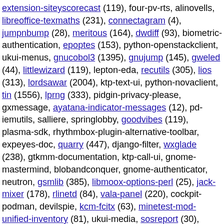extension-siteyscorecast (119), four-pv-rts, alinovells, libreoffice-texmaths (231), connectagram (4), jumpnbump (28), meritous (164), dwdiff (93), biometric-authentication, epoptes (153), python-openstackclient, ukui-menus, gnucobol3 (1395), gnujump (145), gweled (44), littlewizard (119), lepton-eda, recutils (305), lios (313), lordsawar (2004), ktp-text-ui, python-novaclient, tin (1556), lprng (333), pidgin-privacy-please, gxmessage, ayatana-indicator-messages (12), pd-iemutils, salliere, springlobby, goodvibes (119), plasma-sdk, rhythmbox-plugin-alternative-toolbar, expeyes-doc, quarry (447), django-filter, wxglade (238), gtkmm-documentation, ktp-call-ui, gnome-mastermind, blobandconquer, gnome-authenticator, neutron, gsmlib (385), libmoox-options-perl (25), jack-mixer (178), rlinetd (84), vala-panel (220), cockpit-podman, devilspie, kcm-fcitx (63), minetest-mod-unified-inventory (81), ukui-media, sosreport (30), lincity (366), smuxi, tvtime (246), django-guardian, gnome-dvb-daemon, installation-guide (76), ktp-contact-list, mactelnet (86), strawberry, cgit (4800), ...